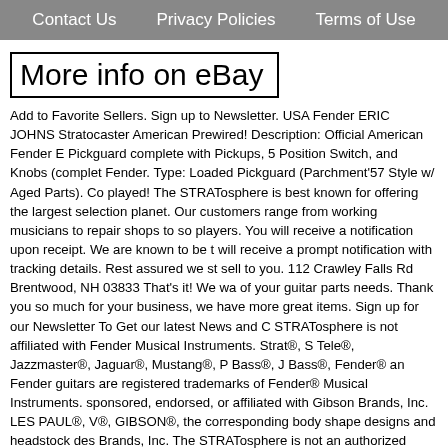Contact Us   Privacy Policies   Terms of Use
More info on eBay
Add to Favorite Sellers. Sign up to Newsletter. USA Fender ERIC JOHNS Stratocaster American Prewired! Description: Official American Fender E Pickguard complete with Pickups, 5 Position Switch, and Knobs (complet Fender. Type: Loaded Pickguard (Parchment'57 Style w/ Aged Parts). Co played! The STRATosphere is best known for offering the largest selection planet. Our customers range from working musicians to repair shops to so players. You will receive a notification upon receipt. We are known to be t will receive a prompt notification with tracking details. Rest assured we st sell to you. 112 Crawley Falls Rd Brentwood, NH 03833 That's it! We wa of your guitar parts needs. Thank you so much for your business, we have more great items. Sign up for our Newsletter To Get our latest News and C STRATosphere is not affiliated with Fender Musical Instruments. Strat®, S Tele®, Jazzmaster®, Jaguar®, Mustang®, P Bass®, J Bass®, Fender® an Fender guitars are registered trademarks of Fender® Musical Instruments. sponsored, endorsed, or affiliated with Gibson Brands, Inc. LES PAUL®, V®, GIBSON®, the corresponding body shape designs and headstock des Brands, Inc. The STRATosphere is not an authorized dealer or reseller of G undergoing maintenance, we apologise for any inconvenience caused. The Strat LOADED PICKGUARD Stratocaster American Prewired" is in sale item is in the category "Musical Instruments & Gear\Guitars & Basses\Par The seller is "thestratosphere" and is located in New Hampshire. This item